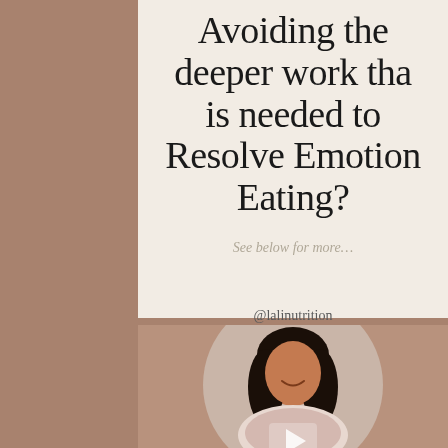[Figure (infographic): Social media infographic card with text 'Avoiding the deeper work that is needed to Resolve Emotional Eating?' on a cream background with the handle @lalinutrition]
Avoiding the deeper work that is needed to Resolve Emotional Eating?
See below for more...
@lalinutrition
[Figure (photo): Circular portrait photo of a smiling woman with long dark hair, seated, with a play button overlay indicating a video thumbnail]